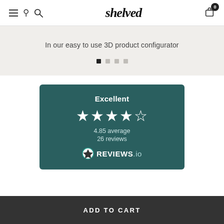shelved
In our easy to use 3D product configurator
[Figure (infographic): Reviews.io widget card on teal/dark green background showing: Excellent rating, 5 stars (4.85 average), 26 reviews, Reviews.io logo]
ADD TO CART